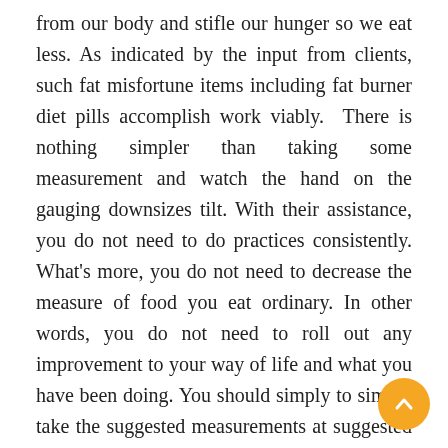from our body and stifle our hunger so we eat less. As indicated by the input from clients, such fat misfortune items including fat burner diet pills accomplish work viably. There is nothing simpler than taking some measurement and watch the hand on the gauging downsizes tilt. With their assistance, you do not need to do practices consistently. What's more, you do not need to decrease the measure of food you eat ordinary. In other words, you do not need to roll out any improvement to your way of life and what you have been doing. You should simply to simply take the suggested measurements at suggested stretches. This is great. In any case, it does not imply that you will be liberated from any concern.

The main thing that may stress you is that the